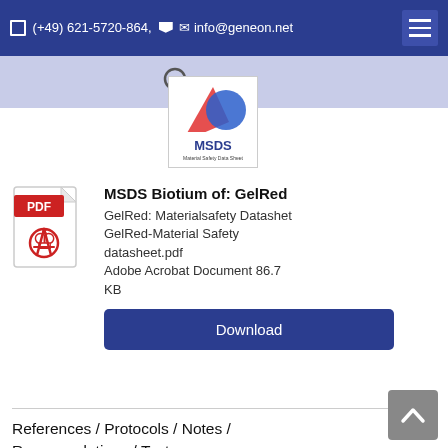(+49) 621-5720-864, info@geneon.net
[Figure (logo): MSDS Material Safety Data Sheet icon with red and blue design elements]
[Figure (logo): Adobe PDF file icon (red with PDF label and Acrobat logo)]
MSDS Biotium of: GelRed
GelRed: Materialsafety Datashet GelRed-Material Safety datasheet.pdf Adobe Acrobat Document 86.7 KB
Download
References / Protocols / Notes / Recomendations / Tests
References from the supplier Biotium:
GelRed, PCR products